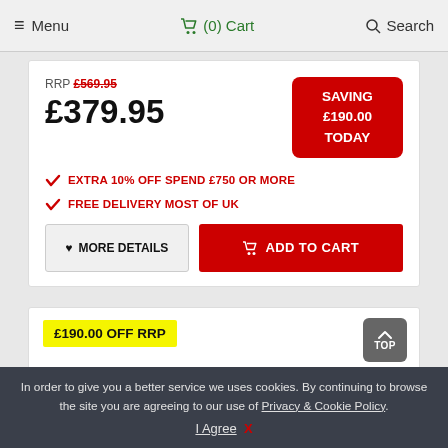≡ Menu   🛒 (0) Cart   🔍 Search
RRP £569.95
£379.95
SAVING £190.00 TODAY
✔ EXTRA 10% OFF SPEND £750 OR MORE
✔ FREE DELIVERY MOST OF UK
♥ MORE DETAILS   🛒 ADD TO CART
£190.00 OFF RRP
[Figure (photo): Partial product image - rounded white/grey object visible at bottom]
In order to give you a better service we uses cookies. By continuing to browse the site you are agreeing to our use of Privacy & Cookie Policy.
I Agree  X